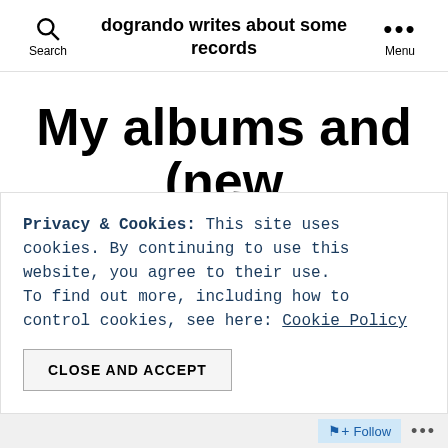dogrando writes about some records
My albums and (new feature!) track of 2013 (an out of band post)
Privacy & Cookies: This site uses cookies. By continuing to use this website, you agree to their use.
To find out more, including how to control cookies, see here: Cookie Policy
CLOSE AND ACCEPT